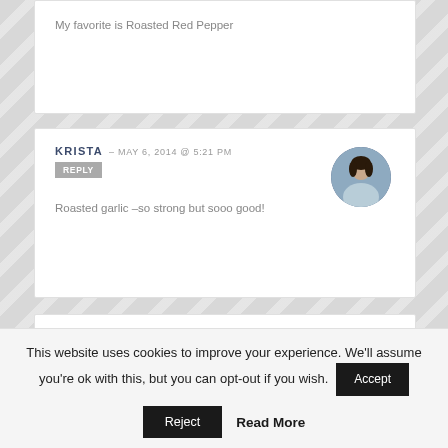My favorite is Roasted Red Pepper
KRISTA – MAY 6, 2014 @ 5:21 PM
REPLY
Roasted garlic –so strong but sooo good!
LYNNLE – MAY 6, 2014 @ 5:24 PM
REPLY
This website uses cookies to improve your experience. We'll assume you're ok with this, but you can opt-out if you wish.
Accept
Reject
Read More